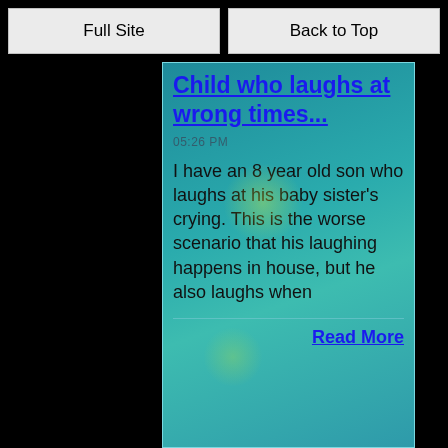Full Site | Back to Top
Child who laughs at wrong times...
I have an 8 year old son who laughs at his baby sister's crying. This is the worse scenario that his laughing happens in house, but he also laughs when
Read More